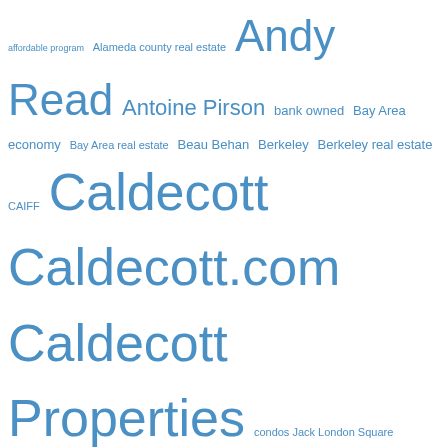[Figure (other): Tag cloud of real estate and Bay Area related terms in various sizes rendered in blue text. Larger terms include: Andy Read, Caldecott, Caldecott.com, Caldecott Properties, east bay real estate, first time home buyers, home buyer, jack london square. Smaller terms include: affordable program, Alameda county real estate, Antoine Pirson, bank owned, Bay Area economy, Bay Area real estate, Beau Behan, Berkeley, Berkeley real estate, CAIFF, condos Jack London Square, dogtown, Dogtown Art District, downtown oakland, east bay condos, east bay housing market, east bay residential sales, Emeryville, Emeryville condos, employment report, Fannie Mae, FHA, Foreclosure, foreclosures, Freddie Mac, Government Shutdown, home buyers credit, Home Sales, Investors, jack london square condos, Jeanine Woller, Joanne Trombly.]